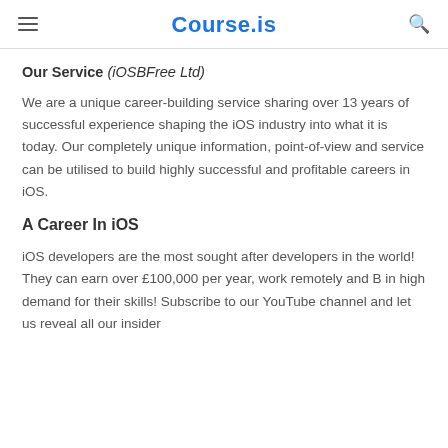Course.is
Our Service (iOSBFree Ltd)
We are a unique career-building service sharing over 13 years of successful experience shaping the iOS industry into what it is today. Our completely unique information, point-of-view and service can be utilised to build highly successful and profitable careers in iOS.
A Career In iOS
iOS developers are the most sought after developers in the world! They can earn over £100,000 per year, work remotely and B in high demand for their skills! Subscribe to our YouTube channel and let us reveal all our insider